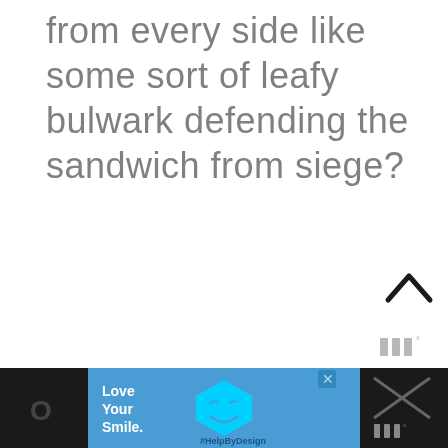from every side like some sort of leafy bulwark defending the sandwich from siege?
[Figure (other): Scroll-to-top chevron/arrow button, pointing upward, dark color]
[Figure (logo): Wordmark logo: three vertical bars followed by a superscript degree symbol, in gray]
[Figure (other): Advertisement banner: blue background with 'Love Your Smile.' text, a cyan pentagon/shield logo in center, '#HelpByDesign' hashtag, close button, and dark panels on each side with partial text and wordmark logo]